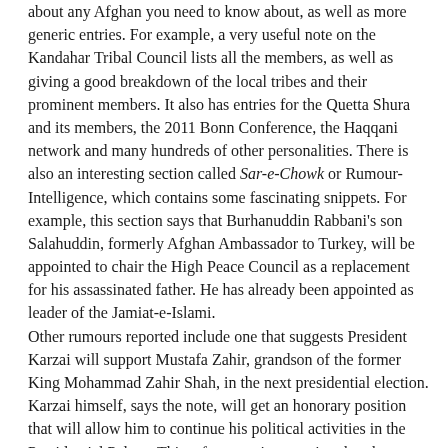about any Afghan you need to know about, as well as more generic entries. For example, a very useful note on the Kandahar Tribal Council lists all the members, as well as giving a good breakdown of the local tribes and their prominent members. It also has entries for the Quetta Shura and its members, the 2011 Bonn Conference, the Haqqani network and many hundreds of other personalities. There is also an interesting section called Sar-e-Chowk or Rumour-Intelligence, which contains some fascinating snippets. For example, this section says that Burhanuddin Rabbani's son Salahuddin, formerly Afghan Ambassador to Turkey, will be appointed to chair the High Peace Council as a replacement for his assassinated father. He has already been appointed as leader of the Jamiat-e-Islami. Other rumours reported include one that suggests President Karzai will support Mustafa Zahir, grandson of the former King Mohammad Zahir Shah, in the next presidential election. Karzai himself, says the note, will get an honorary position that will allow him to continue his political activities in the Presidential Palace. This, of course, is assuming that the Taliban does not come back into power. No information on who writes this or how it is funded although it is described as a "private, independent, non-profit database".